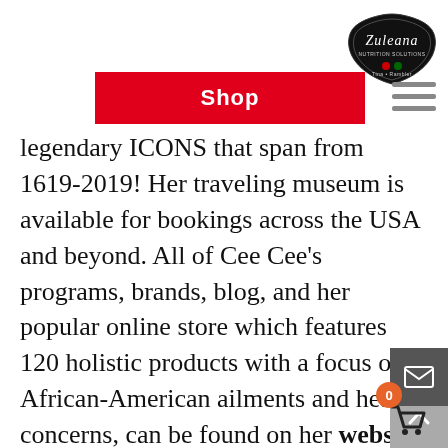[Figure (logo): Zuleana brand logo in black decorative badge shape with red and green accent and 'Zuleana' script text]
[Figure (other): Red 'Shop' button navigation element]
legendary ICONS that span from 1619-2019! Her traveling museum is available for bookings across the USA and beyond. All of Cee Cee’s programs, brands, blog, and her popular online store which features 120 holistic products with a focus on African-American ailments and health concerns, can be found on her website at www.Zuleana.com. After more than ten years of being abstinent and patiently waiting on the Lord, she is SUPER excited